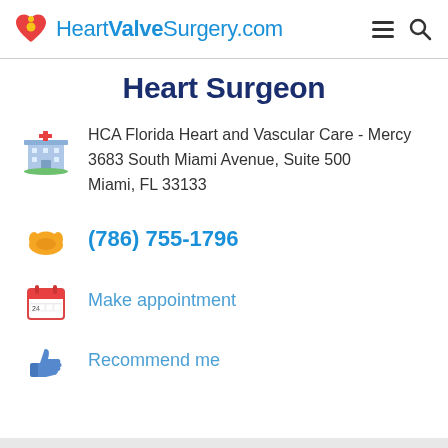HeartValveSurgery.com
Heart Surgeon
HCA Florida Heart and Vascular Care - Mercy 3683 South Miami Avenue, Suite 500 Miami, FL 33133
(786) 755-1796
Make appointment
Recommend me